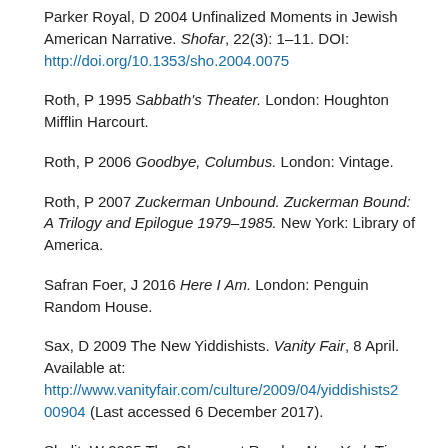Parker Royal, D 2004 Unfinalized Moments in Jewish American Narrative. Shofar, 22(3): 1–11. DOI: http://doi.org/10.1353/sho.2004.0075
Roth, P 1995 Sabbath's Theater. London: Houghton Mifflin Harcourt.
Roth, P 2006 Goodbye, Columbus. London: Vintage.
Roth, P 2007 Zuckerman Unbound. Zuckerman Bound: A Trilogy and Epilogue 1979–1985. New York: Library of America.
Safran Foer, J 2016 Here I Am. London: Penguin Random House.
Sax, D 2009 The New Yiddishists. Vanity Fair, 8 April. Available at: http://www.vanityfair.com/culture/2009/04/yiddishists200904 (Last accessed 6 December 2017).
Shalit, W 2005 The Observant Reader. New York Times